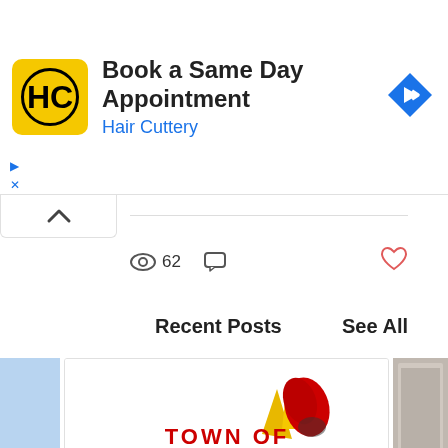[Figure (screenshot): Hair Cuttery advertisement banner with yellow HC logo, 'Book a Same Day Appointment' heading, 'Hair Cuttery' subtitle in blue, and a blue diamond navigation arrow icon]
[Figure (screenshot): Website UI showing chevron collapse button, separator line, view count (62), comment icon, heart/like icon, Recent Posts header with See All link, and post card thumbnails including Town of Vermilion Alberta logo]
62
Recent Posts
See All
Town Welcomes New Director Of Infrastructure